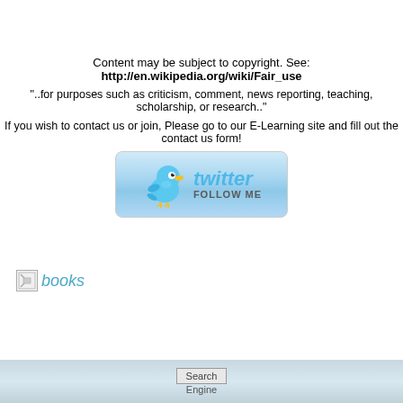Content may be subject to copyright. See: http://en.wikipedia.org/wiki/Fair_use
"..for purposes such as criticism, comment, news reporting, teaching, scholarship, or research.."
If you wish to contact us or join, Please go to our E-Learning site and fill out the contact us form!
[Figure (illustration): Twitter Follow Me button with blue bird mascot]
books
[Figure (other): Search Engine broken image placeholder at bottom of page]